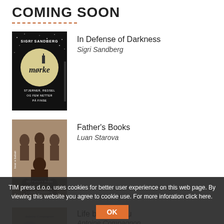COMING SOON
[Figure (illustration): Book cover: Morke by Sigri Sandberg — dark background with a moon and silhouetted building, Norwegian text]
In Defense of Darkness
Sigri Sandberg
[Figure (photo): Book cover: My Father's Books by Luan Starova — sepia vintage family photograph]
Father's Books
Luan Starova
[Figure (illustration): Book cover: Life behind You by Antoine Compagnon — partially visible]
Life behind You
Antoine Compagnon
TIM press d.o.o. uses cookies for better user experience on this web page. By viewing this website you agree to cookie use. For more inforation click here.